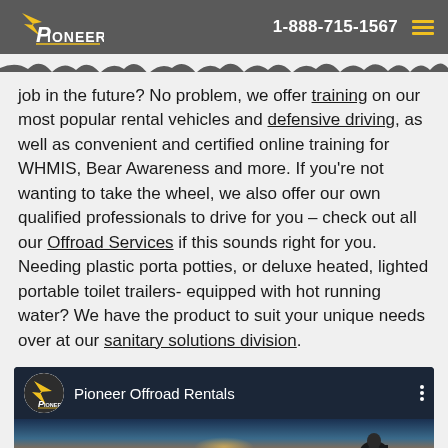Pioneer Offroad | 1-888-715-1567
job in the future? No problem, we offer training on our most popular rental vehicles and defensive driving, as well as convenient and certified online training for WHMIS, Bear Awareness and more. If you're not wanting to take the wheel, we also offer our own qualified professionals to drive for you – check out all our Offroad Services if this sounds right for you. Needing plastic porta potties, or deluxe heated, lighted portable toilet trailers- equipped with hot running water? We have the product to suit your unique needs over at our sanitary solutions division.
[Figure (screenshot): YouTube video embed showing Pioneer Offroad Rentals channel with a snowmobile rider at sunset]